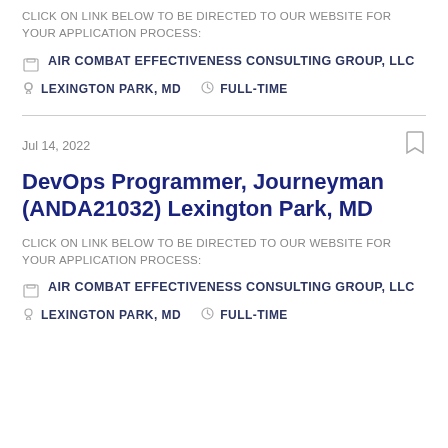CLICK ON LINK BELOW TO BE DIRECTED TO OUR WEBSITE FOR YOUR APPLICATION PROCESS:
AIR COMBAT EFFECTIVENESS CONSULTING GROUP, LLC
LEXINGTON PARK, MD   FULL-TIME
Jul 14, 2022
DevOps Programmer, Journeyman (ANDA21032) Lexington Park, MD
CLICK ON LINK BELOW TO BE DIRECTED TO OUR WEBSITE FOR YOUR APPLICATION PROCESS:
AIR COMBAT EFFECTIVENESS CONSULTING GROUP, LLC
LEXINGTON PARK, MD   FULL-TIME